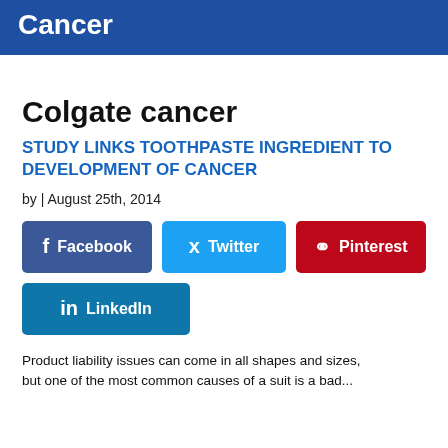Cancer
Colgate cancer
STUDY LINKS TOOTHPASTE INGREDIENT TO DEVELOPMENT OF CANCER
by | August 25th, 2014
[Figure (other): Social sharing buttons: Facebook, Twitter, Pinterest, LinkedIn]
Product liability issues can come in all shapes and sizes, but one of the most common causes of a suit is a bad...